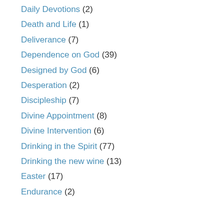Daily Devotions (2)
Death and Life (1)
Deliverance (7)
Dependence on God (39)
Designed by God (6)
Desperation (2)
Discipleship (7)
Divine Appointment (8)
Divine Intervention (6)
Drinking in the Spirit (77)
Drinking the new wine (13)
Easter (17)
Endurance (2)